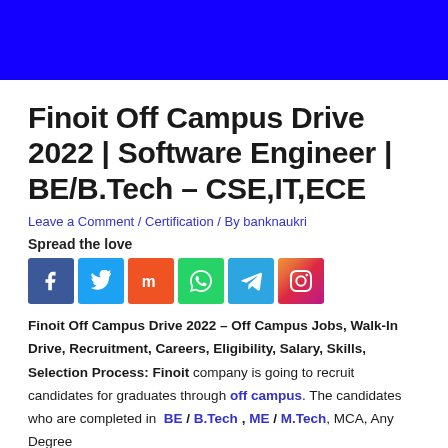Finoit Off Campus Drive 2022 | Software Engineer | BE/B.Tech – CSE,IT,ECE
Leave a Comment / Certification / By banknaukri
Spread the love
[Figure (other): Social media sharing icons: Facebook, Twitter, Mix, WhatsApp, Telegram, Instagram]
Finoit Off Campus Drive 2022 – Off Campus Jobs, Walk-In Drive, Recruitment, Careers, Eligibility, Salary, Skills, Selection Process: Finoit company is going to recruit candidates for graduates through off campus. The candidates who are completed in BE / B.Tech , ME / M.Tech, MCA, Any Degree